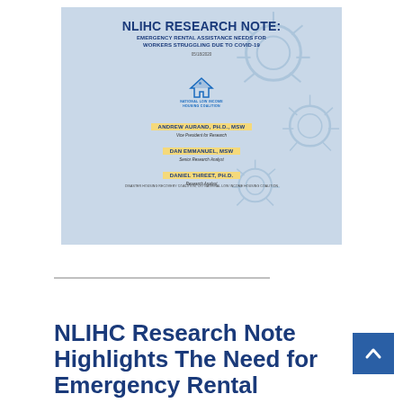[Figure (illustration): Cover page thumbnail of NLIHC Research Note on Emergency Rental Assistance Needs for Workers Struggling Due to COVID-19, dated 05/18/2020, with authors Andrew Aurand Ph.D. MSW, Dan Emmanuel MSW, Daniel Threet Ph.D., published by Disaster Housing Recovery Coalition c/o National Low Income Housing Coalition]
NLIHC Research Note Highlights The Need for Emergency Rental